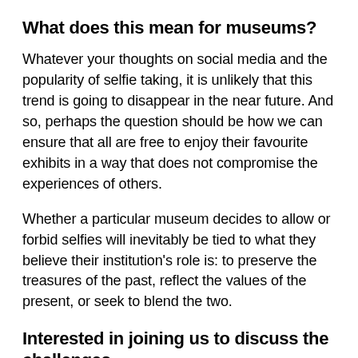What does this mean for museums?
Whatever your thoughts on social media and the popularity of selfie taking, it is unlikely that this trend is going to disappear in the near future. And so, perhaps the question should be how we can ensure that all are free to enjoy their favourite exhibits in a way that does not compromise the experiences of others.
Whether a particular museum decides to allow or forbid selfies will inevitably be tied to what they believe their institution's role is: to preserve the treasures of the past, reflect the values of the present, or seek to blend the two.
Interested in joining us to discuss the challenges